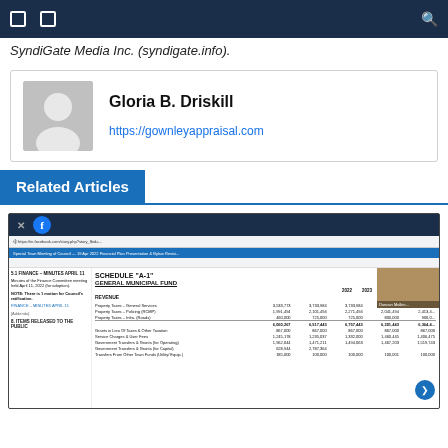SyndiGate Media Inc. (syndigate.info).
[Figure (other): Author profile card for Gloria B. Driskill with avatar placeholder and link to https://gownleyappraisal.com]
Related Articles
[Figure (screenshot): Screenshot of a browser window showing a Facebook post with a government financial document — Schedule A-1 General Municipal Fund Revenue table with columns for 2022, 2023, 2024, 2025, 2026 showing property taxes, grants, service charges, government transfers, and other revenue line items.]